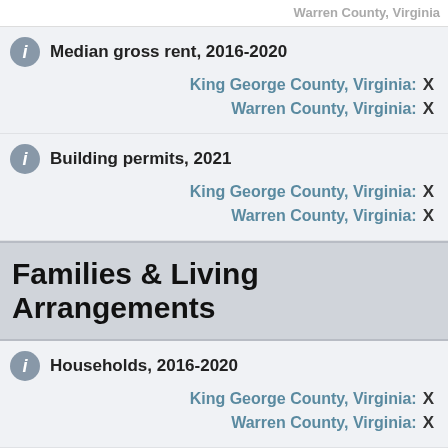Warren County, Virginia
Median gross rent, 2016-2020
King George County, Virginia: X
Warren County, Virginia: X
Building permits, 2021
King George County, Virginia: X
Warren County, Virginia: X
Families & Living Arrangements
Households, 2016-2020
King George County, Virginia: X
Warren County, Virginia: X
Persons per household, 2016-
King George
[Figure (infographic): Popup dialog 'Is this page helpful?' with Yes and No thumbs buttons and a close X]